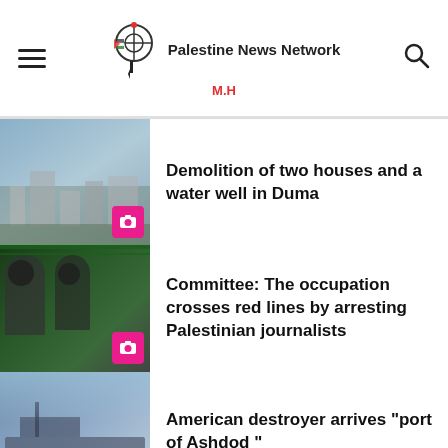Palestine News Network M.H
Demolition of two houses and a water well in Duma
Committee: The occupation crosses red lines by arresting Palestinian journalists
American destroyer arrives "port of Ashdod "
Members of Congress call on Pompeo to